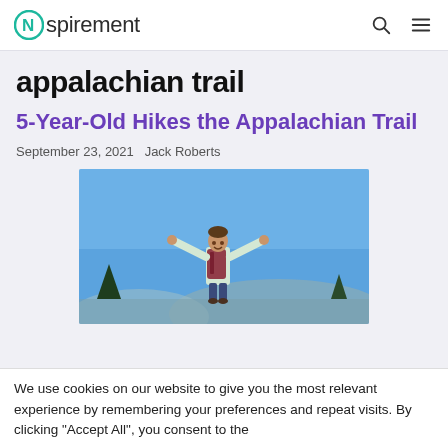Nspirement
appalachian trail
5-Year-Old Hikes the Appalachian Trail
September 23, 2021  Jack Roberts
[Figure (photo): A young child with arms outstretched wearing a red backpack, standing triumphantly on a mountain trail under a bright blue sky with pine trees in the background.]
We use cookies on our website to give you the most relevant experience by remembering your preferences and repeat visits. By clicking "Accept All", you consent to the